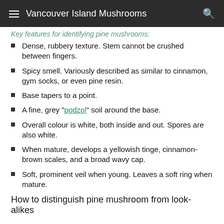Vancouver Island Mushrooms
Key features for identifying pine mushrooms:
Dense, rubbery texture. Stem cannot be crushed between fingers.
Spicy smell. Variously described as similar to cinnamon, gym socks, or even pine resin.
Base tapers to a point.
A fine, grey "podzol" soil around the base.
Overall colour is white, both inside and out. Spores are also white.
When mature, develops a yellowish tinge, cinnamon-brown scales, and a broad wavy cap.
Soft, prominent veil when young. Leaves a soft ring when mature.
How to distinguish pine mushroom from look-alikes